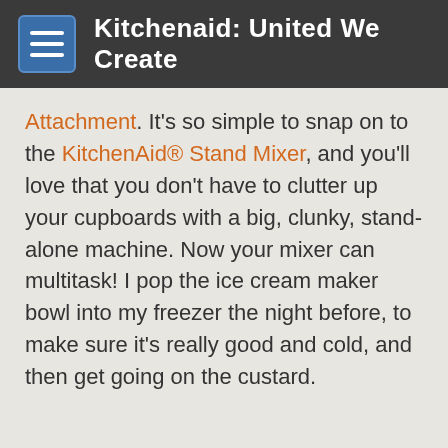Kitchenaid: United We Create
Attachment. It's so simple to snap on to the KitchenAid® Stand Mixer, and you'll love that you don't have to clutter up your cupboards with a big, clunky, stand-alone machine. Now your mixer can multitask! I pop the ice cream maker bowl into my freezer the night before, to make sure it's really good and cold, and then get going on the custard.